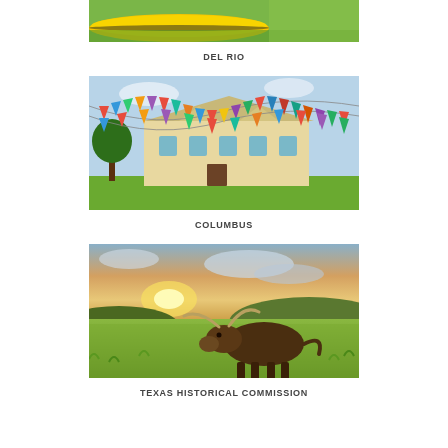[Figure (photo): Partially visible photo of a yellow kayak on green grass/water, cropped at top]
DEL RIO
[Figure (photo): Colorful triangular bunting flags strung in front of a historic cream-colored courthouse building with trees and green lawn, Columbus Texas]
COLUMBUS
[Figure (photo): A longhorn cattle standing in a green field at sunset with rolling hills and dramatic sky, Texas landscape]
TEXAS HISTORICAL COMMISSION